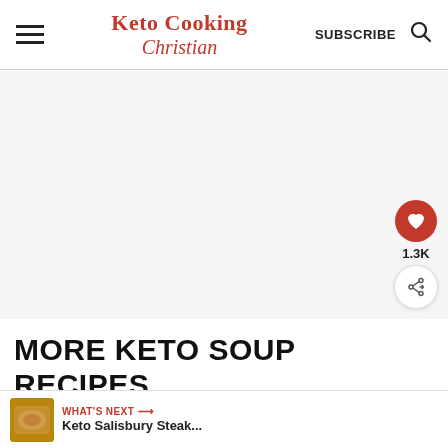Keto Cooking Christian | SUBSCRIBE
[Figure (other): Large blank/white image area placeholder for a keto soup recipe photo]
1.3K
WHAT'S NEXT → Keto Salisbury Steak...
MORE KETO SOUP RECIPES